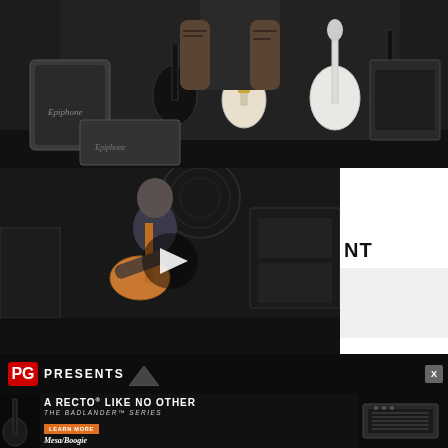[Figure (photo): Musician standing with multiple electric guitars (Les Paul style) including black and white guitars, Epiphone case visible, dark background with equipment cases]
[Figure (screenshot): Video player showing a guitarist playing a Stratocaster-style guitar in front of amplifiers with a play button overlay in the center]
NT
LATEST
[Figure (screenshot): PG Presents bar with PG logo in red and 'PRESENTS' text, close X button]
[Figure (photo): Mesa/Boogie advertisement: A RECTO LIKE NO OTHER - THE BADLANDER SERIES, Learn More button, Mesa/Boogie logo, amp head image on right]